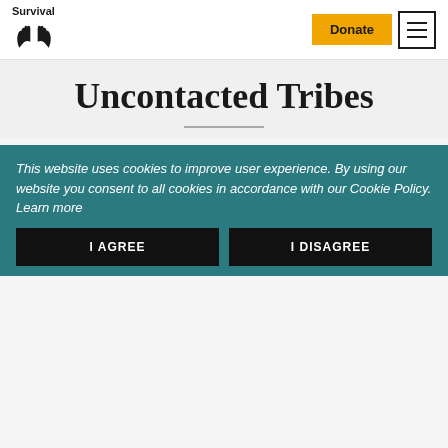Survival International — Donate / Menu
Uncontacted Tribes
[Figure (photo): Aerial or close-up photo of indigenous tribal people in a forest/jungle setting, some wearing red body paint and holding spears or bows]
This website uses cookies to improve user experience. By using our website you consent to all cookies in accordance with our Cookie Policy. Learn more
I AGREE
I DISAGREE